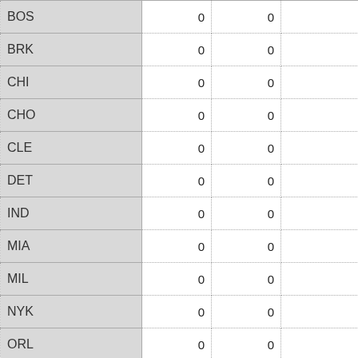| BOS | 0 | 0 |  | 0.0 |
| BRK | 0 | 0 |  | 0.0 |
| CHI | 0 | 0 |  | 0.0 |
| CHO | 0 | 0 |  | 0.0 |
| CLE | 0 | 0 |  | 0.0 |
| DET | 0 | 0 |  | 0.0 |
| IND | 0 | 0 |  | 0.0 |
| MIA | 0 | 0 |  | 0.0 |
| MIL | 0 | 0 |  | 0.0 |
| NYK | 0 | 0 |  | 0.0 |
| ORL | 0 | 0 |  | 0.0 |
| PHI | 0 | 0 |  | 0.0 |
| TOR | 0 | 0 |  | 0.0 |